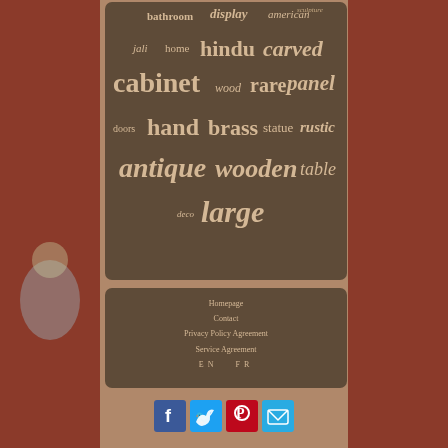[Figure (infographic): Word cloud on brown background with antique/furniture related terms: bathroom, display, american, sculpture, jali, home, hindu, carved, cabinet, wood, rare, panel, doors, hand, brass, statue, rustic, antique, wooden, table, deco, large]
Homepage
Contact
Privacy Policy Agreement
Service Agreement
EN   FR
[Figure (illustration): Social media icons: Facebook (blue), Twitter (light blue), Pinterest (red), Email (light blue)]